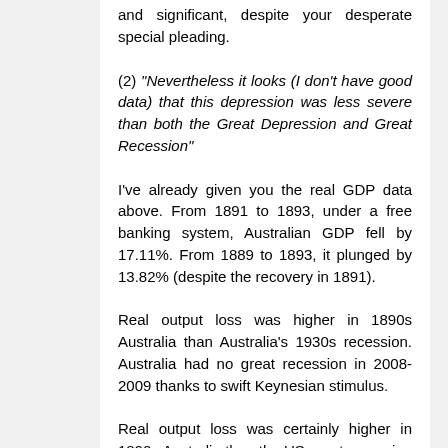and significant, despite your desperate special pleading.
(2) "Nevertheless it looks (I don't have good data) that this depression was less severe than both the Great Depression and Great Recession"
I've already given you the real GDP data above. From 1891 to 1893, under a free banking system, Australian GDP fell by 17.11%. From 1889 to 1893, it plunged by 13.82% (despite the recovery in 1891).
Real output loss was higher in 1890s Australia than Australia's 1930s recession. Australia had no great recession in 2008-2009 thanks to swift Keynesian stimulus.
Real output loss was certainly higher in 1890s Australia than the US great recession 2008-2009. The US 1929-1933 was higher but that doesn't mean that 1890-1893 Australia was wasn't in a